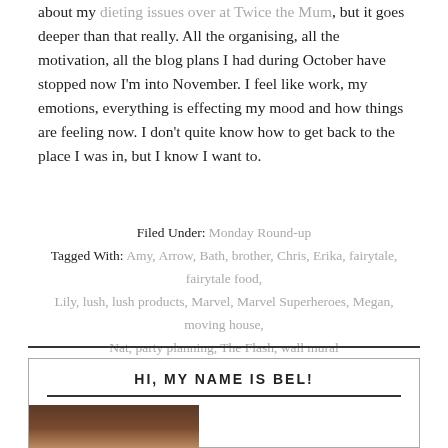about my dieting issues over at Twice the Mum, but it goes deeper than that really. All the organising, all the motivation, all the blog plans I had during October have stopped now I'm into November. I feel like work, my emotions, everything is effecting my mood and how things are feeling now. I don't quite know how to get back to the place I was in, but I know I want to.
Filed Under: Monday Round-up
Tagged With: Amy, Arrow, Bath, brother, Chris, Erika, fairytale, fairytale food, Lily, lush, lush products, Marvel, Marvel Superheroes, Megan, moving house, Nat, party planning, The Flash, wall mural
HI, MY NAME IS BEL!
[Figure (photo): Portrait photo of a woman with dark brown hair, looking up slightly, cropped to show face and upper head.]